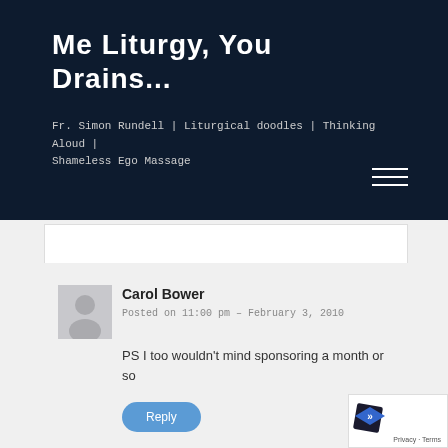Me Liturgy, You Drains...
Fr. Simon Rundell | Liturgical doodles | Thinking Aloud | Shameless Ego Massage
Carol Bower
Posted on 11:00 pm - February 3, 2010
PS I too wouldn't mind sponsoring a month or so